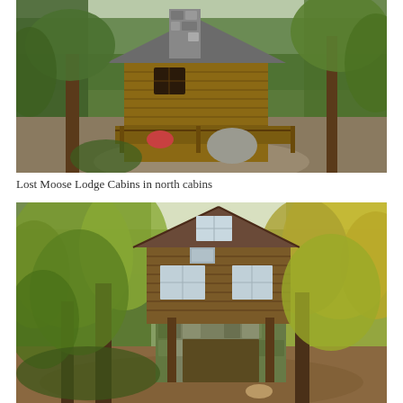[Figure (photo): A rustic log cabin with stone chimney and wooden deck/porch surrounded by green forest trees on a hillside with gravel driveway and a large boulder in front.]
Lost Moose Lodge Cabins in north cabins
[Figure (photo): A two-story wooden cabin elevated on stilts/posts with stone base, surrounded by tall autumn trees with yellow and green foliage, with a dirt/leaf-covered ground area in front.]